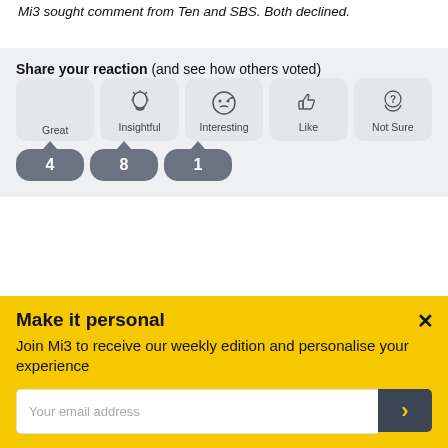Mi3 sought comment from Ten and SBS. Both declined.
Share your reaction (and see how others voted)
[Figure (infographic): Reaction buttons: Great (clapping hands icon), Insightful (lightbulb icon), Interesting (thinking face emoji), Like (thumbs up icon), Not Sure (question mark head icon). Below first three: vote counts 4, 8, 1 in grey speech bubbles.]
Leave a comment (you must be logged in)
Make it personal
Join Mi3 to receive our weekly edition and personalise your experience
Your email address